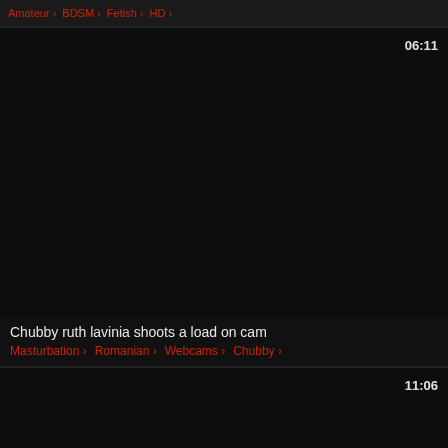Amateur > BDSM > Fetish > HD >
[Figure (screenshot): Dark video thumbnail for 'Chubby ruth lavinia shoots a load on cam', duration 06:11]
Chubby ruth lavinia shoots a load on cam
Masturbation > Romanian > Webcams > Chubby >
[Figure (screenshot): Dark video thumbnail, duration 11:06]